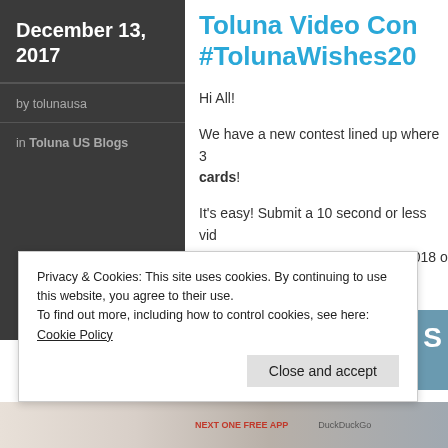December 13, 2017
by tolunausa
in Toluna US Blogs
Toluna Video Con #TolunaWishes20
Hi All!
We have a new contest lined up where 3 cards!
It's easy! Submit a 10 second or less vid to Toluna and tag #TolunaWishes2018 o entered!
[Figure (screenshot): Partial screenshot of a webpage with blue-gray background, partially cropped]
Privacy & Cookies: This site uses cookies. By continuing to use this website, you agree to their use.
To find out more, including how to control cookies, see here: Cookie Policy
Close and accept
[Figure (screenshot): Bottom strip with app download and DuckDuckGo text]